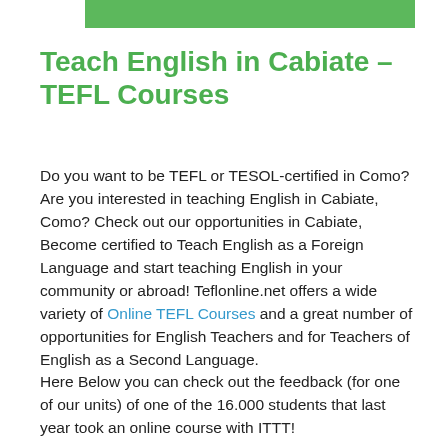[Figure (other): Green decorative bar at the top of the page]
Teach English in Cabiate – TEFL Courses
Do you want to be TEFL or TESOL-certified in Como? Are you interested in teaching English in Cabiate, Como? Check out our opportunities in Cabiate, Become certified to Teach English as a Foreign Language and start teaching English in your community or abroad! Teflonline.net offers a wide variety of Online TEFL Courses and a great number of opportunities for English Teachers and for Teachers of English as a Second Language. Here Below you can check out the feedback (for one of our units) of one of the 16.000 students that last year took an online course with ITTT!